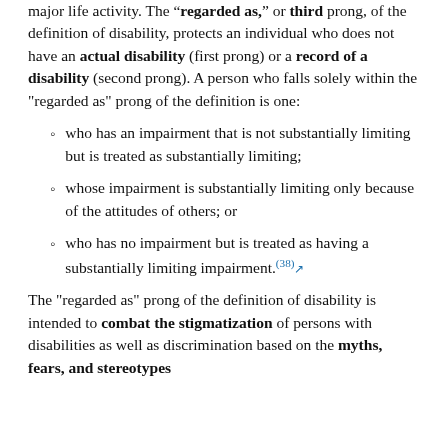major life activity. The "regarded as" or third prong, of the definition of disability, protects an individual who does not have an actual disability (first prong) or a record of a disability (second prong). A person who falls solely within the "regarded as" prong of the definition is one:
who has an impairment that is not substantially limiting but is treated as substantially limiting;
whose impairment is substantially limiting only because of the attitudes of others; or
who has no impairment but is treated as having a substantially limiting impairment.(38)
The "regarded as" prong of the definition of disability is intended to combat the stigmatization of persons with disabilities as well as discrimination based on the myths, fears, and stereotypes